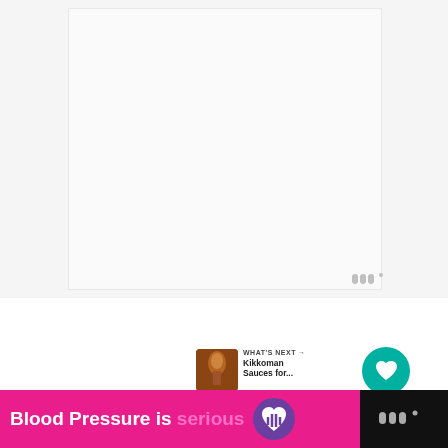[Figure (screenshot): Screenshot of a Wattpad app page showing a mostly white/light gray image area with a Wattpad logo watermark in the lower right corner of the image frame]
[Figure (illustration): Teal circular heart/favorite button with white heart icon]
[Figure (illustration): White circular share button with share icon]
WHAT'S NEXT → Kikkoman Sauces for...
[Figure (screenshot): Bottom advertisement banner: pink background with text 'Blood Pressure is serious' and a purple heart logo icon, followed by dark background with Wattpad logo]